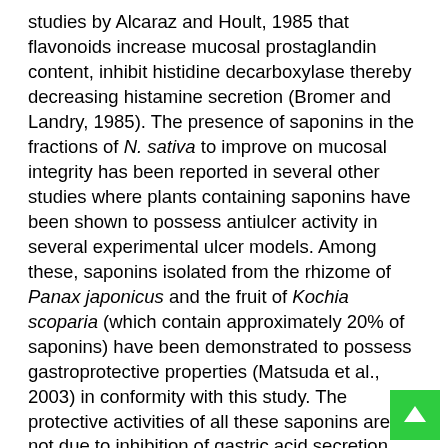studies by Alcaraz and Hoult, 1985 that flavonoids increase mucosal prostaglandin content, inhibit histidine decarboxylase thereby decreasing histamine secretion (Bromer and Landry, 1985). The presence of saponins in the fractions of N. sativa to improve on mucosal integrity has been reported in several other studies where plants containing saponins have been shown to possess antiulcer activity in several experimental ulcer models. Among these, saponins isolated from the rhizome of Panax japonicus and the fruit of Kochia scoparia (which contain approximately 20% of saponins) have been demonstrated to possess gastroprotective properties (Matsuda et al., 2003) in conformity with this study. The protective activities of all these saponins are not due to inhibition of gastric acid secretion, but probably due to activation of mucous membrane protective factors (Borreli and Izzo, 2000). Moreover, several plants containing high amount of saponins have been shown to possess antiulcer activity in several experimental bioassays, probably acting